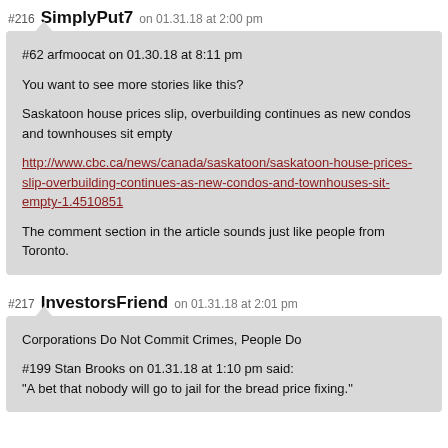#216 SimplyPut7 on 01.31.18 at 2:00 pm
#62 arfmoocat on 01.30.18 at 8:11 pm

You want to see more stories like this?

Saskatoon house prices slip, overbuilding continues as new condos and townhouses sit empty

http://www.cbc.ca/news/canada/saskatoon/saskatoon-house-prices-slip-overbuilding-continues-as-new-condos-and-townhouses-sit-empty-1.4510851

The comment section in the article sounds just like people from Toronto.
#217 InvestorsFriend on 01.31.18 at 2:01 pm
Corporations Do Not Commit Crimes, People Do

#199 Stan Brooks on 01.31.18 at 1:10 pm said:
"A bet that nobody will go to jail for the bread price fixing."